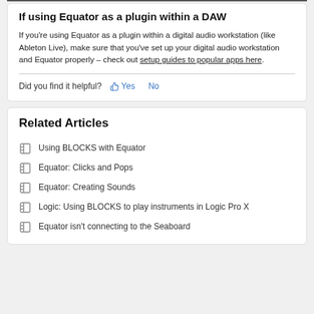If using Equator as a plugin within a DAW
If you're using Equator as a plugin within a digital audio workstation (like Ableton Live), make sure that you've set up your digital audio workstation and Equator properly – check out setup guides to popular apps here.
Did you find it helpful? Yes No
Related Articles
Using BLOCKS with Equator
Equator: Clicks and Pops
Equator: Creating Sounds
Logic: Using BLOCKS to play instruments in Logic Pro X
Equator isn't connecting to the Seaboard